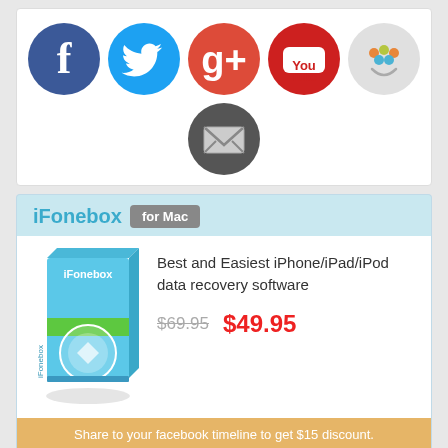[Figure (illustration): Social media icons row: Facebook, Twitter, Google+, YouTube, and a smiley/other icon, all circular]
[Figure (illustration): Email icon in dark grey circle]
iFonebox for Mac
[Figure (illustration): iFonebox product box image - software box art]
Best and Easiest iPhone/iPad/iPod data recovery software
$69.95  $49.95
Share to your facebook timeline to get $15 discount.
Buy now   Mac  Buy Now   Share